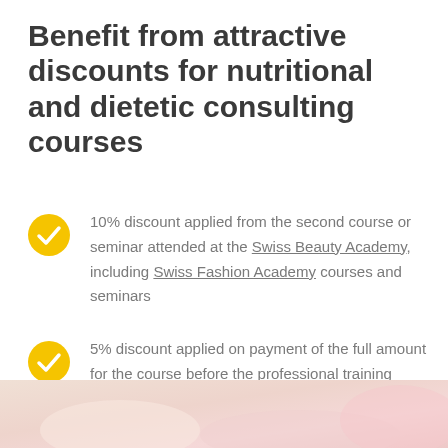Benefit from attractive discounts for nutritional and dietetic consulting courses
10% discount applied from the second course or seminar attended at the Swiss Beauty Academy, including Swiss Fashion Academy courses and seminars
5% discount applied on payment of the full amount for the course before the professional training begins
[Figure (photo): Decorative background image with soft pink and cream tones at the bottom of the page]